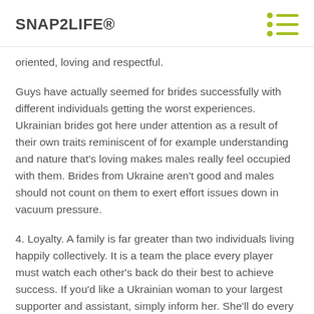SNAP2LIFE®
oriented, loving and respectful.
Guys have actually seemed for brides successfully with different individuals getting the worst experiences. Ukrainian brides got here under attention as a result of their own traits reminiscent of for example understanding and nature that's loving makes males really feel occupied with them. Brides from Ukraine aren't good and males should not count on them to exert effort issues down in vacuum pressure.
4. Loyalty. A family is far greater than two individuals living happily collectively. It is a team the place every player must watch each other's back do their best to achieve success. If you'd like a Ukrainian woman to your largest supporter and assistant, simply inform her. She'll do every thing she will to make sure you get sufficient